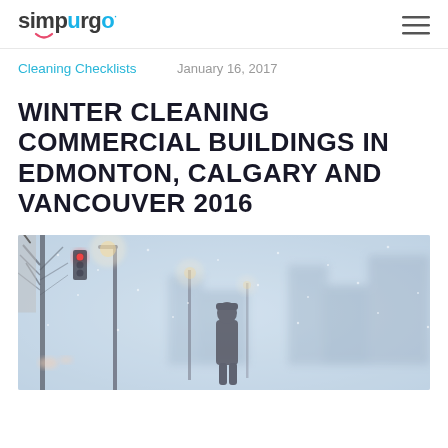simpurgo [logo with smile icon] [hamburger menu]
Cleaning Checklists
January 16, 2017
WINTER CLEANING COMMERCIAL BUILDINGS IN EDMONTON, CALGARY AND VANCOUVER 2016
[Figure (photo): A foggy winter city street scene showing a lone person walking in heavy snowfall or fog, with street lights glowing in the mist, bare trees on the left, and blurred urban buildings in the background. The entire scene is muted in grey-blue winter tones.]